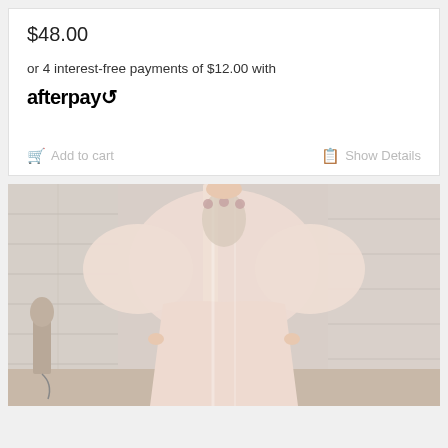$48.00
or 4 interest-free payments of $12.00 with
afterpay
Add to cart
Show Details
[Figure (photo): A person wearing a long sheer pale pink robe/dressing gown with balloon sleeves, worn open over a floral camisole. The background is a whitewashed brick wall.]